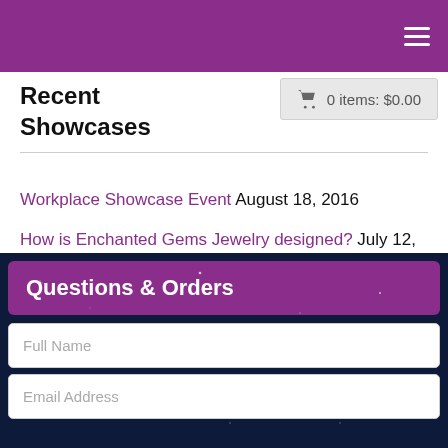Navigation bar with hamburger menu
0 items: $0.00
Recent Showcases
Workplace Showcase Event August 18, 2016
How is Enchanted Gems Jewelry designed? July 12, 2016
Surrey German School Open House May 30, 2016
Questions & Orders
Full Name
Email Address